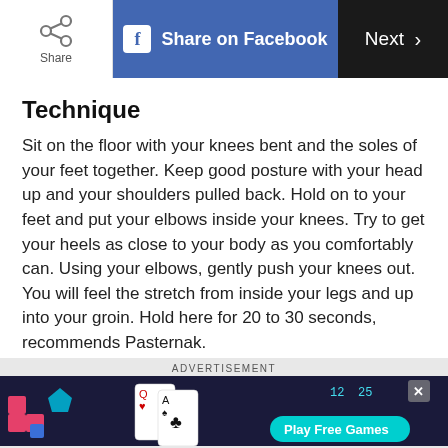Share  |  Share on Facebook  |  Next >
Technique
Sit on the floor with your knees bent and the soles of your feet together. Keep good posture with your head up and your shoulders pulled back. Hold on to your feet and put your elbows inside your knees. Try to get your heels as close to your body as you comfortably can. Using your elbows, gently push your knees out. You will feel the stretch from inside your legs and up into your groin. Hold here for 20 to 30 seconds, recommends Pasternak.
[Figure (screenshot): Advertisement banner showing a dark background with card game and puzzle pieces, with a 'Play Free Games' cyan button on the right.]